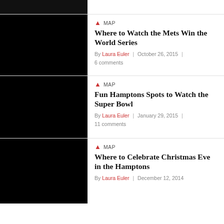[Figure (photo): Black top navigation bar]
[Figure (photo): Black thumbnail image for Mets World Series article]
MAP
Where to Watch the Mets Win the World Series
By Laura Euler | October 26, 2015 | 6 comments
[Figure (photo): Black thumbnail image for Hamptons Super Bowl article]
MAP
Fun Hamptons Spots to Watch the Super Bowl
By Laura Euler | January 29, 2015 | 11 comments
[Figure (photo): Black thumbnail image for Christmas Eve Hamptons article]
MAP
Where to Celebrate Christmas Eve in the Hamptons
By Laura Euler | December 12, 2014